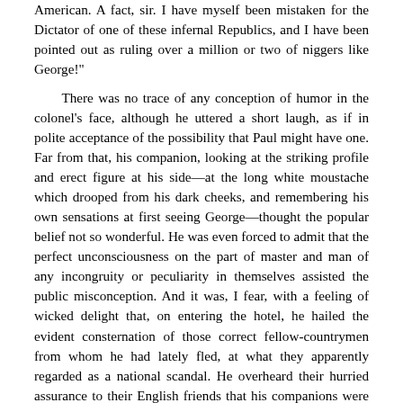American. A fact, sir. I have myself been mistaken for the Dictator of one of these infernal Republics, and I have been pointed out as ruling over a million or two of niggers like George!"
There was no trace of any conception of humor in the colonel's face, although he uttered a short laugh, as if in polite acceptance of the possibility that Paul might have one. Far from that, his companion, looking at the striking profile and erect figure at his side—at the long white moustache which drooped from his dark cheeks, and remembering his own sensations at first seeing George—thought the popular belief not so wonderful. He was even forced to admit that the perfect unconsciousness on the part of master and man of any incongruity or peculiarity in themselves assisted the public misconception. And it was, I fear, with a feeling of wicked delight that, on entering the hotel, he hailed the evident consternation of those correct fellow-countrymen from whom he had lately fled, at what they apparently regarded as a national scandal. He overheard their hurried assurance to their English friends that his companions were NOT from Boston, and enjoyed their mortification that this explanation did not seem to detract from the interest and relief with which the